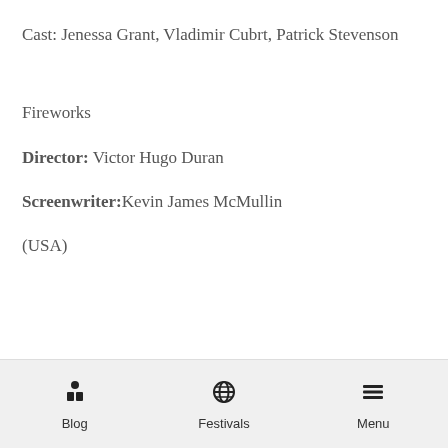Cast: Jenessa Grant, Vladimir Cubrt, Patrick Stevenson
Fireworks
Director: Victor Hugo Duran
Screenwriter:Kevin James McMullin
(USA)
Blog  Festivals  Menu